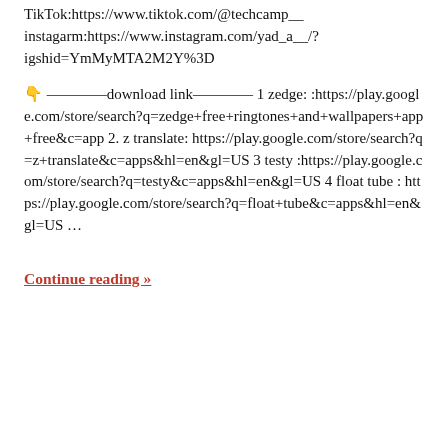TikTok:https://www.tiktok.com/@techcamp__ instagarm:https://www.instagram.com/yad_a__/?igshid=YmMyMTA2M2Y%3D
👇 ————download link———— 1 zedge: :https://play.google.com/store/search?q=zedge+free+ringtones+and+wallpapers+app+free&c=app 2. z translate: https://play.google.com/store/search?q=z+translate&c=apps&hl=en&gl=US 3 testy :https://play.google.com/store/search?q=testy&c=apps&hl=en&gl=US 4 float tube : https://play.google.com/store/search?q=float+tube&c=apps&hl=en&gl=US …
Continue reading »